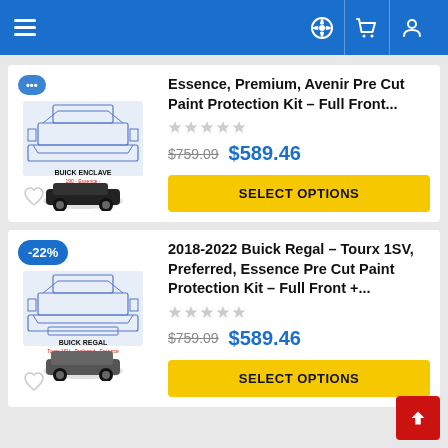Navigation bar with hamburger menu, help, cart, and account icons
[Figure (screenshot): Buick Enclave paint protection kit product image with blueprint-style car diagram and vehicle photo, labeled BUICK ENCLAVE]
Essence, Premium, Avenir Pre Cut Paint Protection Kit – Full Front...
★★★★★ (no stars filled)
$759.09  $589.46
SELECT OPTIONS
[Figure (screenshot): Buick Regal paint protection kit product image with blueprint-style car diagram and vehicle photo, labeled BUICK REGAL Tourx 1SV - Preferred - Essence]
2018-2022 Buick Regal – Tourx 1SV, Preferred, Essence Pre Cut Paint Protection Kit – Full Front +...
★★★★★ (no stars filled)
$759.09  $589.46
SELECT OPTIONS